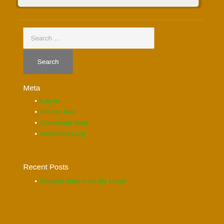Search ...
Search
Meta
Log in
Entries feed
Comments feed
WordPress.org
Recent Posts
Bargain Steel from My Local